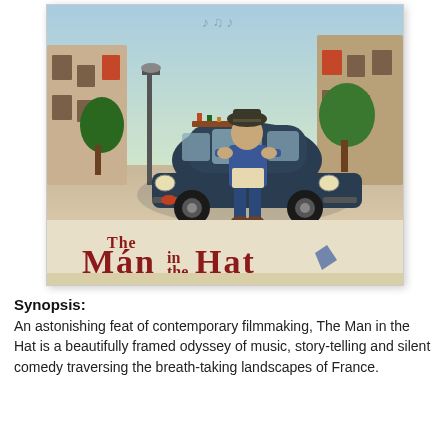[Figure (illustration): Movie poster for 'The Man in the Hat' showing a man in blue clothes and a hat standing in front of a dark blue Fiat 500 car on a French village street. The title 'The Man in the Hat' is written in large red serif letters at the bottom of the poster.]
Synopsis:
An astonishing feat of contemporary filmmaking, The Man in the Hat is a beautifully framed odyssey of music, story-telling and silent comedy traversing the breath-taking landscapes of France.